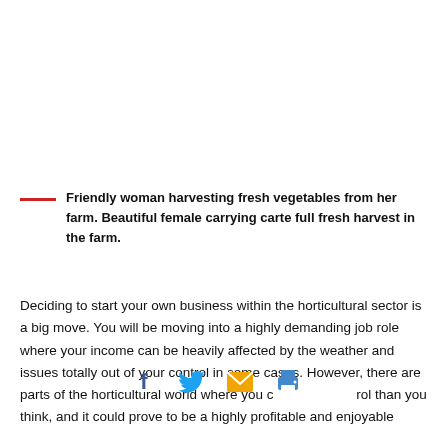Friendly woman harvesting fresh vegetables from her farm. Beautiful female carrying carte full fresh harvest in the farm.
Deciding to start your own business within the horticultural sector is a big move. You will be moving into a highly demanding job role where your income can be heavily affected by the weather and issues totally out of your control in some cases. However, there are parts of the horticultural world where you c rol than you think, and it could prove to be a highly profitable and enjoyable